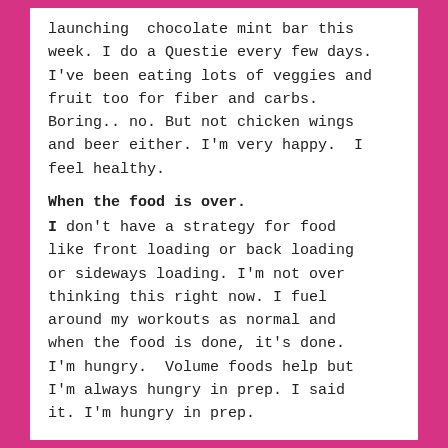launching  chocolate mint bar this week. I do a Questie every few days. I've been eating lots of veggies and fruit too for fiber and carbs. Boring.. no. But not chicken wings and beer either. I'm very happy.  I feel healthy.
When the food is over.
I don't have a strategy for food like front loading or back loading or sideways loading. I'm not over thinking this right now. I fuel around my workouts as normal and when the food is done, it's done. I'm hungry.  Volume foods help but I'm always hungry in prep. I said it. I'm hungry in prep.